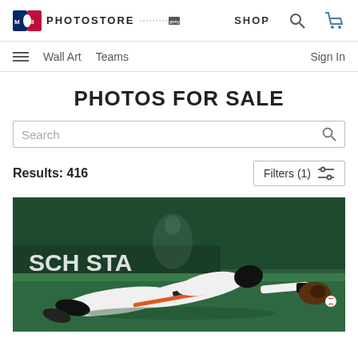MLB PHOTOSTORE | SHOP
Wall Art   Teams   Sign In
PHOTOS FOR SALE
Search
Results: 416   Filters (1)
[Figure (photo): San Francisco Giants outfielder diving for a ball at Busch Stadium, wearing white uniform with orange trim, glove outstretched toward a baseball on the grass.]